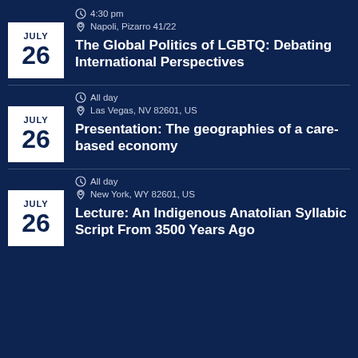JULY 26 | 4:30 pm | Napoli, Pizarro 41/22 | The Global Politics of LGBTQ: Debating International Perspectives
JULY 26 | All day | Las Vegas, NV 82601, US | Presentation: The geographies of a care-based economy
JULY 26 | All day | New York, WY 82601, US | Lecture: An Indigenous Anatolian Syllabic Script From 3500 Years Ago